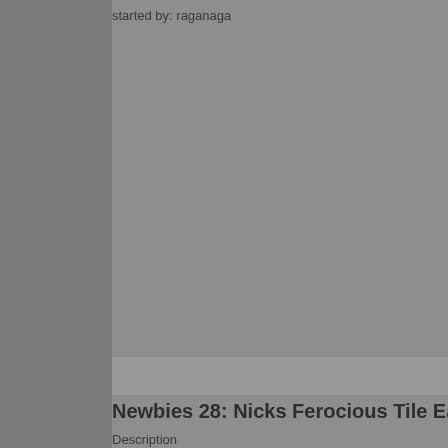started by: raganaga
Newbies 28: Nicks Ferocious Tile Eating Machi
Description